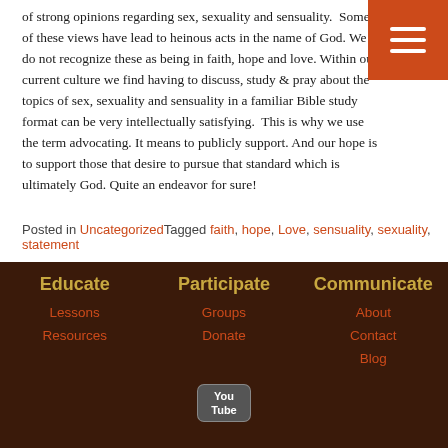of strong opinions regarding sex, sexuality and sensuality. Some of these views have lead to heinous acts in the name of God. We do not recognize these as being in faith, hope and love. Within our current culture we find having to discuss, study & pray about the topics of sex, sexuality and sensuality in a familiar Bible study format can be very intellectually satisfying. This is why we use the term advocating. It means to publicly support. And our hope is to support those that desire to pursue that standard which is ultimately God. Quite an endeavor for sure!
Posted in Uncategorized Tagged faith, hope, Love, sensuality, sexuality, statement
Educate | Lessons | Resources | Participate | Groups | Donate | Communicate | About | Contact | Blog